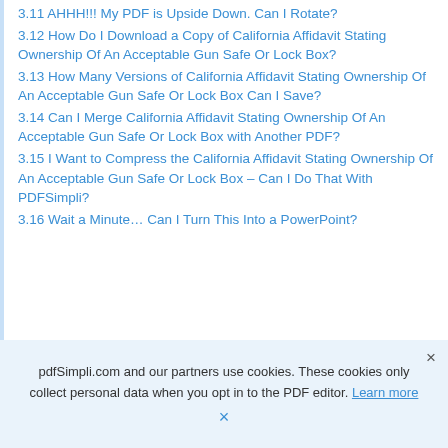3.11 AHHH!!! My PDF is Upside Down. Can I Rotate?
3.12 How Do I Download a Copy of California Affidavit Stating Ownership Of An Acceptable Gun Safe Or Lock Box?
3.13 How Many Versions of California Affidavit Stating Ownership Of An Acceptable Gun Safe Or Lock Box Can I Save?
3.14 Can I Merge California Affidavit Stating Ownership Of An Acceptable Gun Safe Or Lock Box with Another PDF?
3.15 I Want to Compress the California Affidavit Stating Ownership Of An Acceptable Gun Safe Or Lock Box – Can I Do That With PDFSimpli?
3.16 Wait a Minute… Can I Turn This Into a PowerPoint?
pdfSimpli.com and our partners use cookies. These cookies only collect personal data when you opt in to the PDF editor. Learn more ×